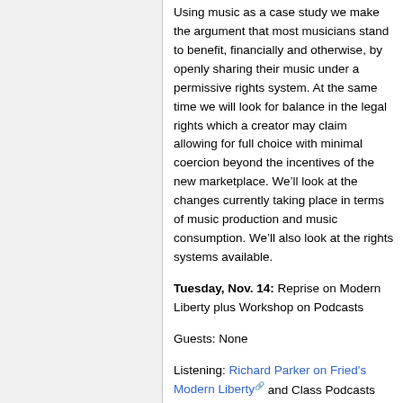Using music as a case study we make the argument that most musicians stand to benefit, financially and otherwise, by openly sharing their music under a permissive rights system. At the same time we will look for balance in the legal rights which a creator may claim allowing for full choice with minimal coercion beyond the incentives of the new marketplace. We’ll look at the changes currently taking place in terms of music production and music consumption. We’ll also look at the rights systems available.
Tuesday, Nov. 14: Reprise on Modern Liberty plus Workshop on Podcasts
Guests: None
Listening: Richard Parker on Fried's Modern Liberty and Class Podcasts